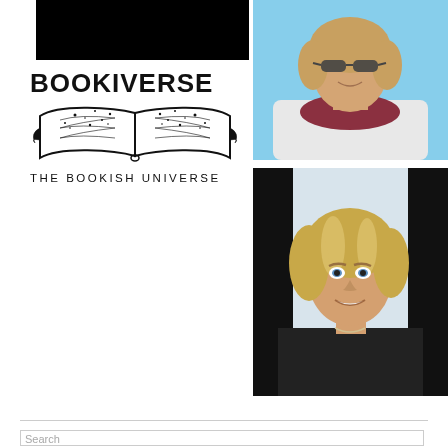[Figure (photo): Black rectangle / top of image partially obscured, dark photo at top left]
[Figure (logo): Bookiverse logo: bold text BOOKIVERSE, open book illustration with stars, subtitle THE BOOKISH UNIVERSE]
[Figure (photo): Portrait photo of a smiling middle-aged woman with sunglasses and a red scarf, outdoors]
[Figure (photo): Portrait photo of a smiling blonde woman with blue eyes wearing black, against a dark background]
Search